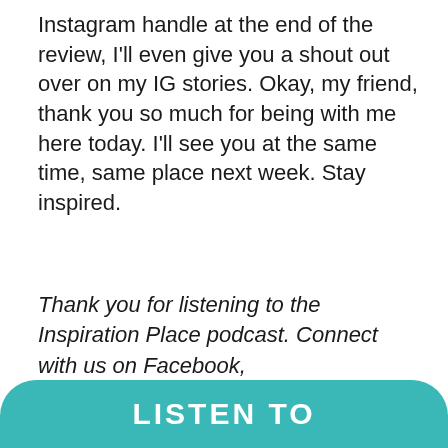Instagram handle at the end of the review, I'll even give you a shout out over on my IG stories. Okay, my friend, thank you so much for being with me here today. I'll see you at the same time, same place next week. Stay inspired.
Thank you for listening to the Inspiration Place podcast. Connect with us on Facebook, facebook.com/schulmanart. Of course on schulmanart.com.
LISTEN TO